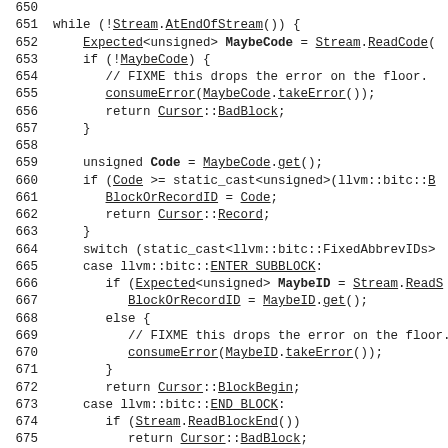[Figure (screenshot): Source code listing (C++) with line numbers 650-679, showing a while loop reading from a bitcode stream, with switch/case handling for ENTER_SUBBLOCK, END_BLOCK, and DEFINE_ABBREV cases. Monospace font with underlined identifiers.]